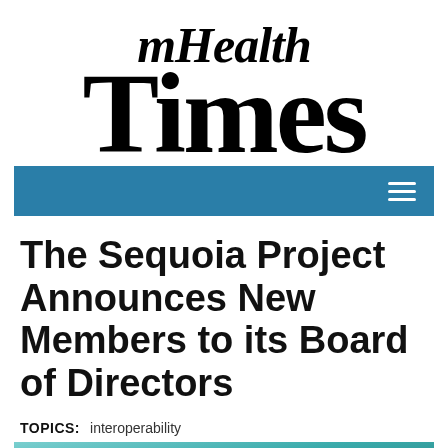[Figure (logo): mHealth Times newspaper-style logo in black serif font]
[Figure (screenshot): Blue navigation bar with hamburger menu icon on the right]
The Sequoia Project Announces New Members to its Board of Directors
TOPICS: interoperability
[Figure (photo): Teal/green colored background image at the bottom of the page]